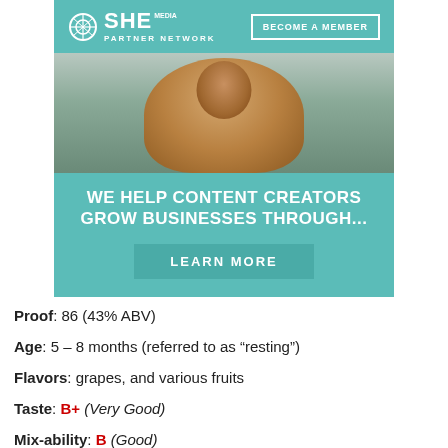[Figure (infographic): SHE Media Partner Network advertisement banner. Teal background with SHE Media logo and 'BECOME A MEMBER' button at top, photo of a smiling woman with glasses using a tablet, headline 'WE HELP CONTENT CREATORS GROW BUSINESSES THROUGH...' and 'LEARN MORE' button.]
Proof: 86 (43% ABV)
Age: 5 – 8 months (referred to as “resting”)
Flavors: grapes, and various fruits
Taste: B+ (Very Good)
Mix-ability: B (Good)